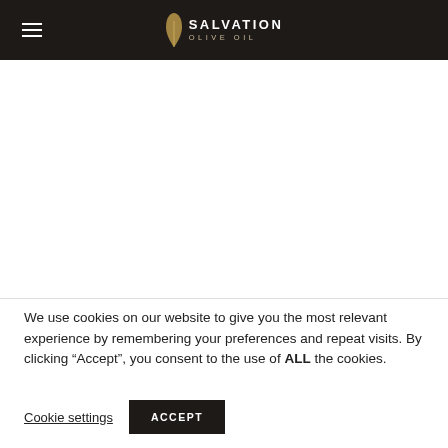SALVATION OLIVE OIL
[Figure (other): White empty content area below the navigation header]
We use cookies on our website to give you the most relevant experience by remembering your preferences and repeat visits. By clicking “Accept”, you consent to the use of ALL the cookies.
Cookie settings  ACCEPT